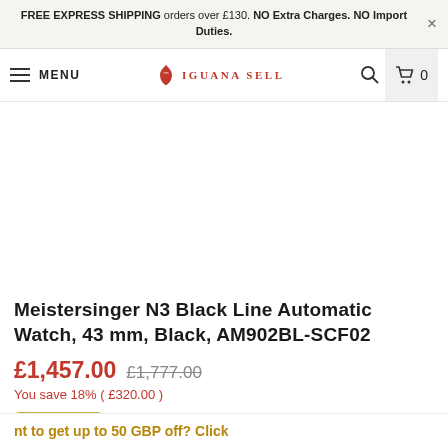FREE EXPRESS SHIPPING orders over £130. NO Extra Charges. NO Import Duties.
MENU — Iguana Sell — Search — Cart 0
[Figure (photo): White/blank product image area for Meistersinger watch]
Meistersinger N3 Black Line Automatic Watch, 43 mm, Black, AM902BL-SCF02
£1,457.00  £1,777.00
You save 18% ( £320.00 )
Rewards
nt to get up to 50 GBP off?  Click